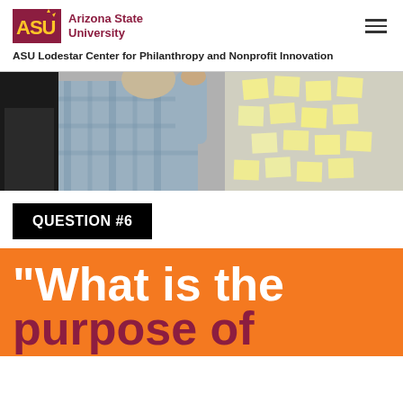ASU Arizona State University
ASU Lodestar Center for Philanthropy and Nonprofit Innovation
[Figure (photo): People placing sticky notes on a wall during a workshop or brainstorming session]
QUESTION #6
"What is the purpose of